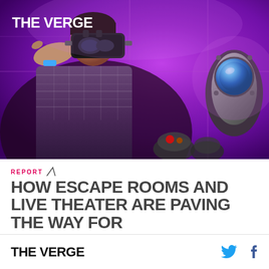[Figure (photo): Person wearing a VR headset in a purple-lit escape room with a circular wall device/button visible on the right side]
THE VERGE
REPORT
HOW ESCAPE ROOMS AND LIVE THEATER ARE PAVING THE WAY FOR
THE VERGE